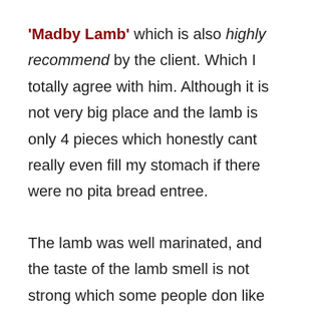'Madby Lamb' which is also highly recommend by the client. Which I totally agree with him. Although it is not very big place and the lamb is only 4 pieces which honestly cant really even fill my stomach if there were no pita bread entree.
The lamb was well marinated, and the taste of the lamb smell is not strong which some people don like and I prefer the taste or smell is stronger. The meat was grilled to perfection, juicy and soft which again were thought to use hand instead of cutleries. Finish my dish and I was hunting for more, look at my friend's dish see whether I can try to taste her portion. RM35